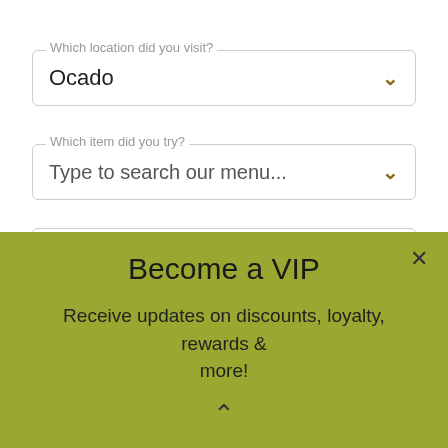Which location did you visit?
Ocado
Which item did you try?
Type to search our menu...
Add your review
Become a VIP
Receive updates on discounts, loyalty, rewards & more!